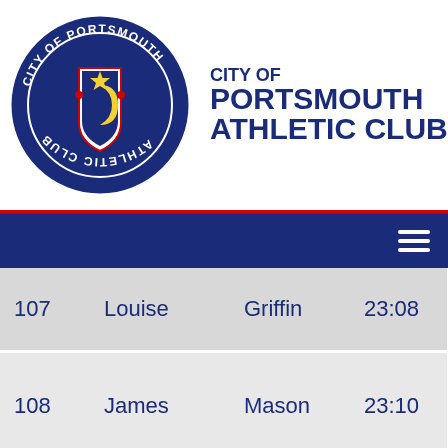[Figure (logo): City of Portsmouth Athletic Club circular badge with star, crescent moon, and shield on dark blue background]
CITY OF
PORTSMOUTH
ATHLETIC CLUB
| # | First Name | Last Name | Time | Club |
| --- | --- | --- | --- | --- |
| 107 | Louise | Griffin | 23:08 | V R |
| 108 | James | Mason | 23:10 | C P A |
| 109 | Kim | Nelson | 23:20 | C R A |
| 110 | Amelia | Thomas | 23:25 | U |